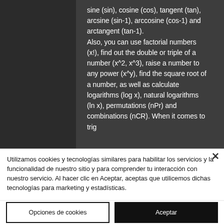sine (sin), cosine (cos), tangent (tan), arcsine (sin-1), arccosine (cos-1) and arctangent (tan-1). Also, you can use factorial numbers (x!), find out the double or triple of a number (x^2, x^3), raise a number to any power (x^y), find the square root of a number, as well as calculate logarithms (log x), natural logarithms (ln x), permutations (nPr) and combinations (nCR). When it comes to trig
Utilizamos cookies y tecnologías similares para habilitar los servicios y la funcionalidad de nuestro sitio y para comprender tu interacción con nuestro servicio. Al hacer clic en Aceptar, aceptas que utilicemos dichas tecnologías para marketing y estadísticas.
Opciones de cookies
Aceptar